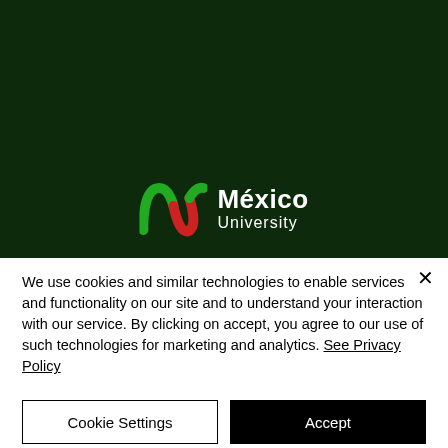[Figure (logo): México University logo with green and red M emblem on dark green background]
We use cookies and similar technologies to enable services and functionality on our site and to understand your interaction with our service. By clicking on accept, you agree to our use of such technologies for marketing and analytics. See Privacy Policy
Cookie Settings
Accept